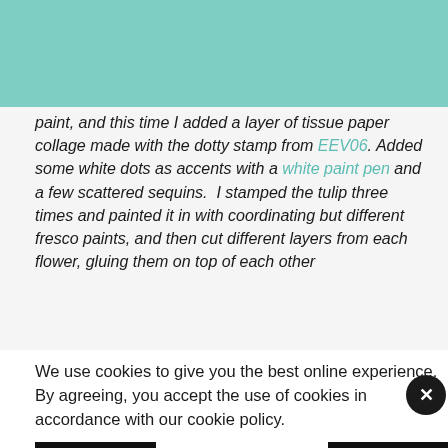[Figure (logo): Simon Says Stamp Blog logo – orange text on white background with teal accent, hamburger menu icon on right]
paint, and this time I added a layer of tissue paper collage made with the dotty stamp from EEV06. Added some white dots as accents with a white paint pen and a few scattered sequins.  I stamped the tulip three times and painted it in with coordinating but different fresco paints, and then cut different layers from each flower, gluing them on top of each other
We use cookies to give you the best online experience. By agreeing, you accept the use of cookies in accordance with our cookie policy.
DECLINE
I ACCEPT
Privacy Policy   Cookie Policy
[Figure (photo): Colorful floral artwork visible at bottom edge of page]